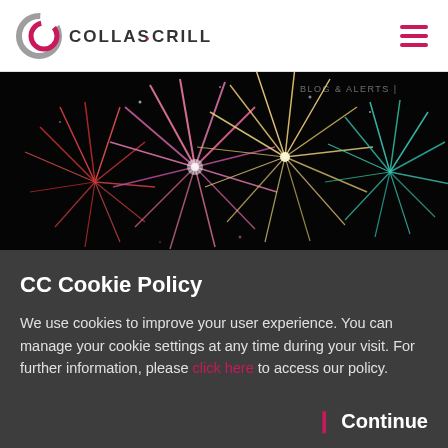Collas Crill
[Figure (photo): Colorful fireworks display against a black night sky, showing multiple bursts of pink, red, gold, and green fireworks]
CC Cookie Policy
We use cookies to improve your user experience. You can manage your cookie settings at any time during your visit. For further information, please click here to access our policy.
Continue